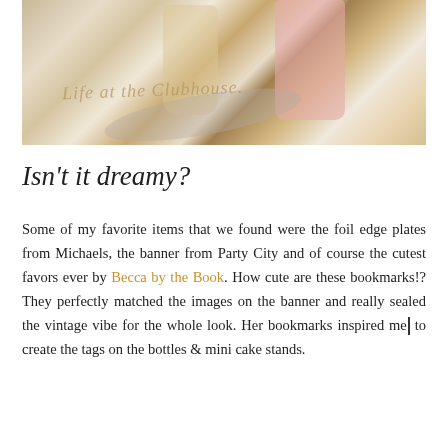[Figure (photo): A photo showing a table setting with desserts in glass cups, a pink beverage cup, silverware (spoons and a fork), and a decorative tablecloth with a watermark reading 'Life at the Clubhouse'.]
Isn't it dreamy?
Some of my favorite items that we found were the foil edge plates from Michaels, the banner from Party City and of course the cutest favors ever by Becca by the Book. How cute are these bookmarks!? They perfectly matched the images on the banner and really sealed the vintage vibe for the whole look. Her bookmarks inspired me to create the tags on the bottles & mini cake stands.